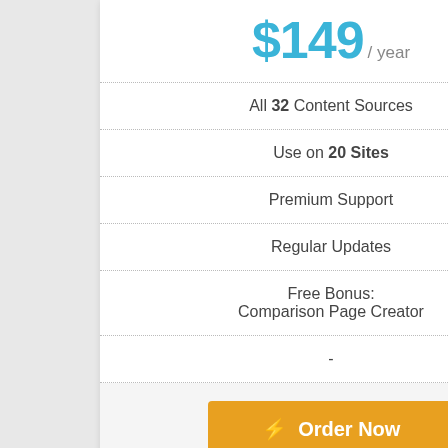$149 / year
All 32 Content Sources
Use on 20 Sites
Premium Support
Regular Updates
Free Bonus: Comparison Page Creator
-
Order Now
Developer Version
$249 / year
All 32 Content Sources
Use on 100 Sites